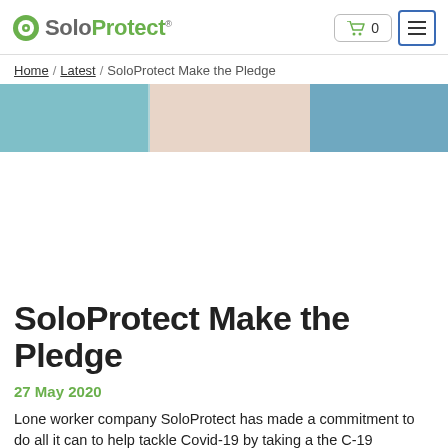SoloProtect
Home / Latest / SoloProtect Make the Pledge
[Figure (photo): Banner image with teal, beige, and blue color sections]
SoloProtect Make the Pledge
27 May 2020
Lone worker company SoloProtect has made a commitment to do all it can to help tackle Covid-19 by taking a the C-19 Business Pledge